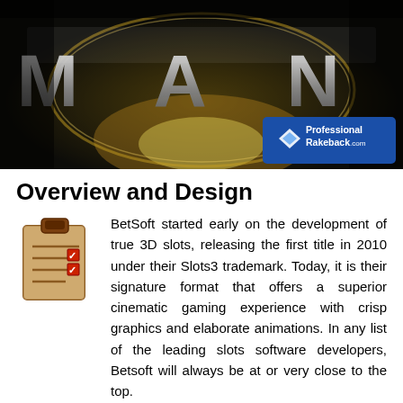[Figure (screenshot): Dark fantasy/action game banner image showing stylized 3D metallic text 'MAN' with glowing effects and dark background. ProfessionalRakeback.com logo badge in bottom right corner.]
Overview and Design
BetSoft started early on the development of true 3D slots, releasing the first title in 2010 under their Slots3 trademark. Today, it is their signature format that offers a superior cinematic gaming experience with crisp graphics and elaborate animations. In any list of the leading slots software developers, Betsoft will always be at or very close to the top.